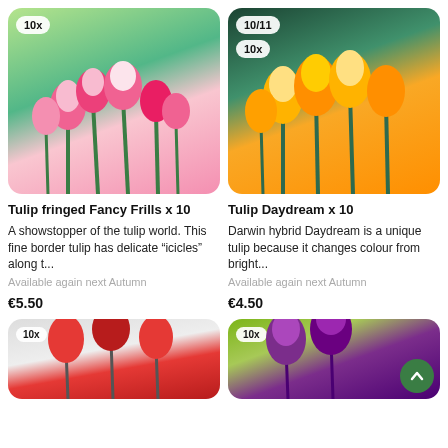[Figure (photo): Pink fringed tulips in a garden, with a badge showing '10x']
[Figure (photo): Yellow/orange Darwin hybrid Daydream tulips in a garden, with badges showing '10/11' and '10x']
Tulip fringed Fancy Frills x 10
Tulip Daydream x 10
A showstopper of the tulip world. This fine border tulip has delicate "icicles" along t...
Darwin hybrid Daydream is a unique tulip because it changes colour from bright...
Available again next Autumn
Available again next Autumn
€5.50
€4.50
[Figure (photo): Red tulips against white background, with a badge showing '10x']
[Figure (photo): Purple tulips against green background, with a badge showing '10x' and a scroll-up button]